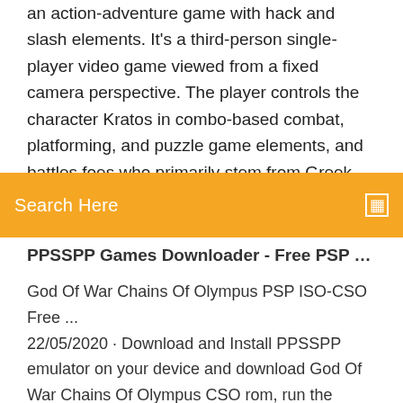an action-adventure game with hack and slash elements. It's a third-person single-player video game viewed from a fixed camera perspective. The player controls the character Kratos in combo-based combat, platforming, and puzzle game elements, and battles foes who primarily stem from Greek mythology, including harpies PSP ISO PPSSPP Games - Download Roms &
Search Here
PPSSPP Games Downloader - Free PSP Games,...
God Of War Chains Of Olympus PSP ISO-CSO Free ... 22/05/2020 · Download and Install PPSSPP emulator on your device and download God Of War Chains Of Olympus CSO rom, run the emulator and select your ISO. Play and enjoy the game. If the game is slow or log, copy the best PPSSPP game settings go to video below. God of War 2 ppsspp iso on android Download - ... First, download the most important thing that is PPSSPP emulator or gold version. simply download it from google play store it's totally free or click here(it will redirect to